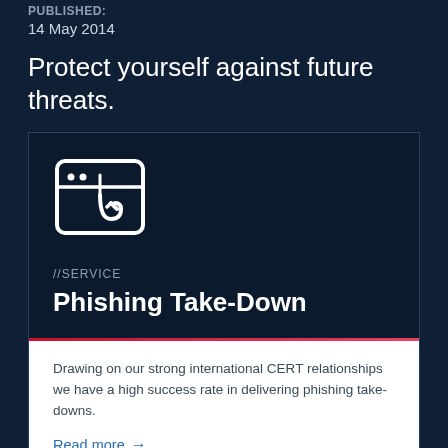PUBLISHED:
14 May 2014
Protect yourself against future threats.
[Figure (illustration): Icon of a browser window with a fishing hook, representing phishing]
//SERVICE
Phishing Take-Down
Drawing on our strong international CERT relationships we have a high success rate in delivering phishing take-downs.
Read more →